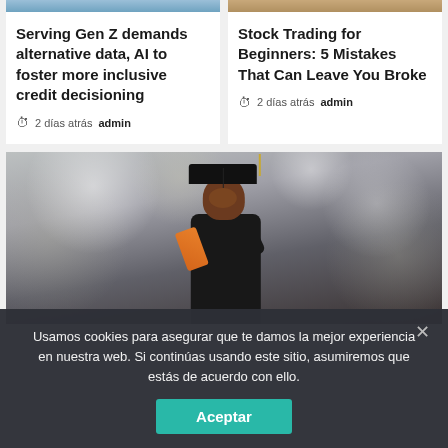[Figure (photo): Top left article thumbnail - blue-toned photo (partially visible at top)]
[Figure (photo): Top right article thumbnail - warm-toned photo (partially visible at top)]
Serving Gen Z demands alternative data, AI to foster more inclusive credit decisioning
2 días atrás  admin
Stock Trading for Beginners: 5 Mistakes That Can Leave You Broke
2 días atrás  admin
[Figure (photo): Photo of a smiling woman in graduation cap and gown holding a diploma, looking upward joyfully]
Usamos cookies para asegurar que te damos la mejor experiencia en nuestra web. Si continúas usando este sitio, asumiremos que estás de acuerdo con ello.